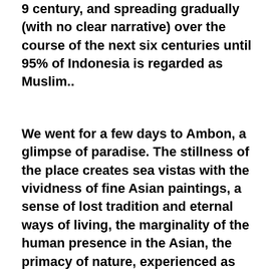9  century, and spreading gradually (with no clear narrative) over the course of the next six centuries until 95% of Indonesia is regarded as Muslim..
We went for a few days to Ambon, a glimpse of paradise. The stillness of the place creates sea vistas with the vividness of fine Asian paintings, a sense of lost tradition and eternal ways of living, the marginality of the human presence in the Asian, the primacy of nature, experienced as ‘the exotic other,’ inscribing the depth of pre-modern authenticity.  On the roads, motorcycles dominate the unlit roads, and driving at night feels hazardous as cars with impatient drivers move past slower vehicles on rather narrow roads, heedless of streams of approaching single headlights, engines almost without the slightest...